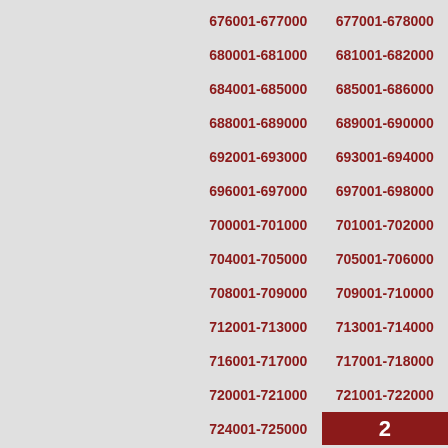676001-677000   677001-678000
680001-681000   681001-682000
684001-685000   685001-686000
688001-689000   689001-690000
692001-693000   693001-694000
696001-697000   697001-698000
700001-701000   701001-702000
704001-705000   705001-706000
708001-709000   709001-710000
712001-713000   713001-714000
716001-717000   717001-718000
720001-721000   721001-722000
724001-725000
2